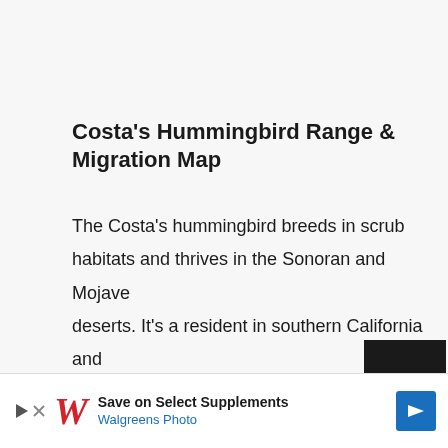Costa's Hummingbird Range & Migration Map
The Costa's hummingbird breeds in scrub habitats and thrives in the Sonoran and Mojave deserts. It's a resident in southern California and southwestern Arizona but during the breeding season can be found in northern California and east to central Arizona.
[Figure (other): Advertisement banner: Walgreens Photo — Save on Select Supplements, with Walgreens logo (stylized W) and a blue navigation arrow badge.]